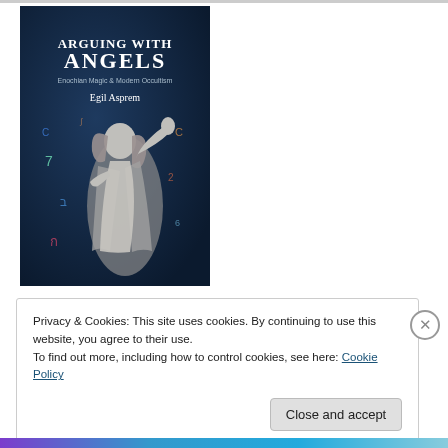[Figure (illustration): Book cover for 'Arguing with Angels: Enochian Magic & Modern Occultism' by Egil Asprem. Dark navy blue background with a classical stone angel statue figure and floating colorful symbols/characters. Title in white text at top, author name below.]
Privacy & Cookies: This site uses cookies. By continuing to use this website, you agree to their use.
To find out more, including how to control cookies, see here: Cookie Policy
Close and accept